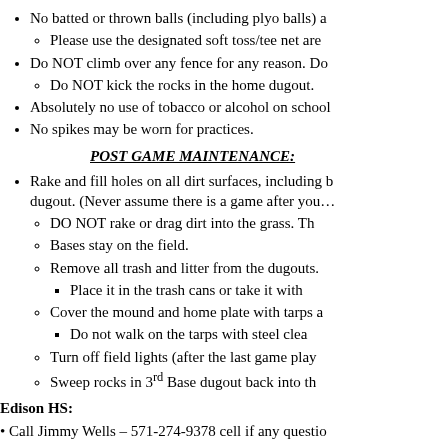No batted or thrown balls (including plyo balls) a…
Please use the designated soft toss/tee net are…
Do NOT climb over any fence for any reason. Do…
Do NOT kick the rocks in the home dugout.
Absolutely no use of tobacco or alcohol on school…
No spikes may be worn for practices.
POST GAME MAINTENANCE:
Rake and fill holes on all dirt surfaces, including b… dugout. (Never assume there is a game after you…
DO NOT rake or drag dirt into the grass. Th…
Bases stay on the field.
Remove all trash and litter from the dugouts.
Place it in the trash cans or take it with…
Cover the mound and home plate with tarps a…
Do not walk on the tarps with steel clea…
Turn off field lights (after the last game play…
Sweep rocks in 3rd Base dugout back into th…
Edison HS:
• Call Jimmy Wells – 571-274-9378 cell if any questio…
• NEW THIS YEAR – Legends is adding our own lock…
• Until our box is placed there (should be first game) th…